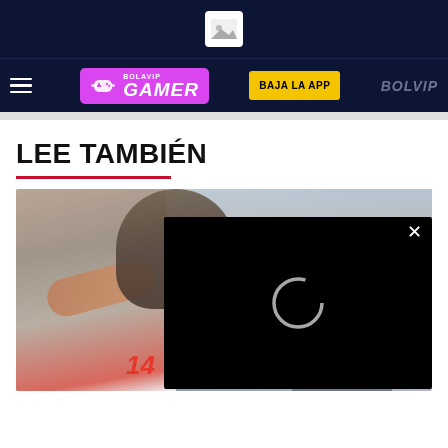[Figure (screenshot): Top dark navy banner with a white image placeholder icon in the center]
BOLAVIP GAMER | BAJA LA APP | BOLAVIP
LEE TAMBIÉN
[Figure (photo): Football players photo with a black video loading overlay showing a loading spinner circle and an X close button. A jersey number 14 in red is visible at the bottom.]